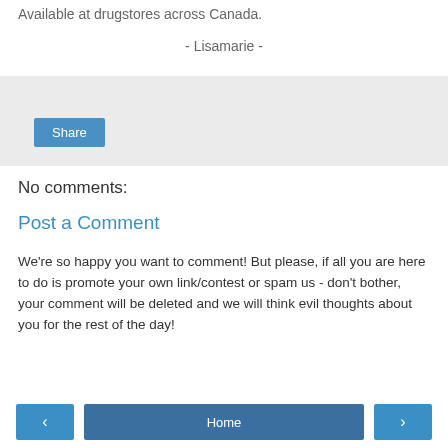Available at drugstores across Canada.
- Lisamarie -
[Figure (other): Share box with Share button on light grey background]
No comments:
Post a Comment
We're so happy you want to comment! But please, if all you are here to do is promote your own link/contest or spam us - don't bother, your comment will be deleted and we will think evil thoughts about you for the rest of the day!
‹   Home   ›